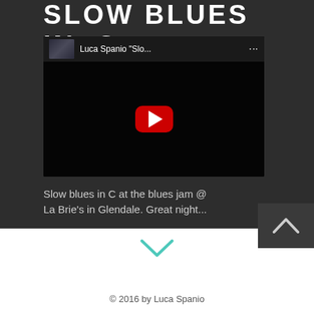SLOW BLUES IN C
[Figure (screenshot): YouTube video embed showing 'Luca Spanio Slo...' with a play button on a dark background]
Slow blues in C at the blues jam @ La Brie's in Glendale. Great night...
© 2016 by Luca Spanio